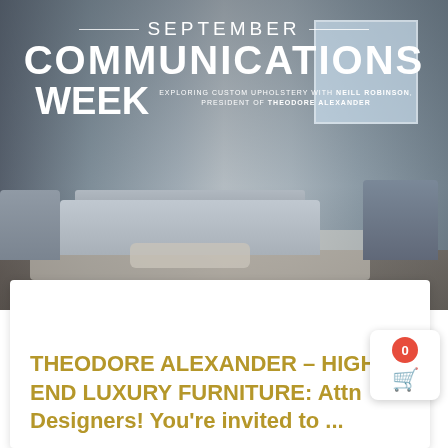[Figure (photo): Luxury living room with gray sofa, coffee table, armchairs, and large windows. Overlaid with text for September Communications Week featuring Neill Robinson, President of Theodore Alexander. Date shown: Friday Sept 18.]
THEODORE ALEXANDER – HIGH END LUXURY FURNITURE: Attn Designers! You're invited to ...